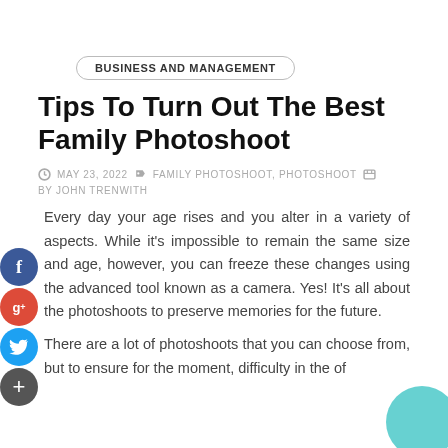BUSINESS AND MANAGEMENT
Tips To Turn Out The Best Family Photoshoot
MAY 23, 2022   FAMILY PHOTOSHOOT, PHOTOSHOOT   BY JOHN TRENWITH
Every day your age rises and you alter in a variety of aspects. While it's impossible to remain the same size and age, however, you can freeze these changes using the advanced tool known as a camera. Yes! It's all about the photoshoots to preserve memories for the future.
There are a lot of photoshoots that you can choose from, but to ensure for the moment, difficulty in the of...